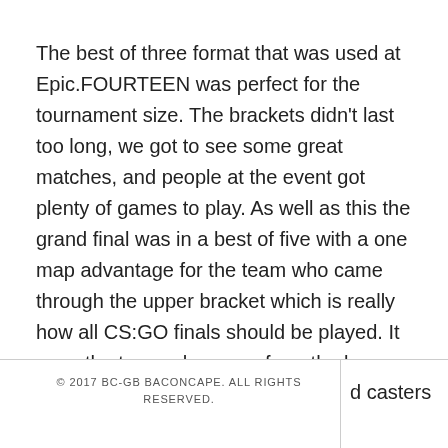The best of three format that was used at Epic.FOURTEEN was perfect for the tournament size. The brackets didn't last too long, we got to see some great matches, and people at the event got plenty of games to play. As well as this the grand final was in a best of five with a one map advantage for the team who came through the upper bracket which is really how all CS:GO finals should be played. It gave the team who came from the lower bracket a realistic chance to win and the team who came from the upper bracket an advantage without being too bias.
© 2017 BC-GB BACONCAPE. ALL RIGHTS RESERVED.
d casters